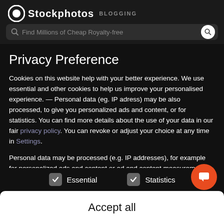[Figure (screenshot): Website header with Stockphotos logo and BLOGGING label, with a search bar below reading 'Find Millions of Cheap Royalty-free']
Privacy Preference
Cookies on this website help with your better experience. We use essential and other cookies to help us improve your personalised experience. — Personal data (eg. IP adress) may be also processed, to give you personalized ads and content, or for statistics. You can find more details about the use of your data in our fair privacy policy. You can revoke or adjust your choice at any time in Settings.
Personal data may be processed (e.g. IP addresses), for example for personalized ads and content or ad and content measurement. You can find more information about the use of your data in our privacy policy. You can revoke or adjust your
Essential   Statistics
Accept all